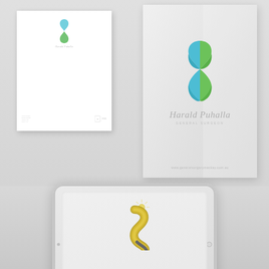[Figure (illustration): Brand identity mockup portfolio page showing: (1) a white letterhead document with Harald Puhalla General Surgeon logo (blue-green figure-shaped mark) at top left; (2) a folded brochure/folder with large blue-green figure logo and 'Harald Puhalla General Surgeon' text and website URL; (3) an iPad tablet mockup displaying the Designer Jeweller Mackay logo (gold peacock/dancer figure with sunburst) and branding.]